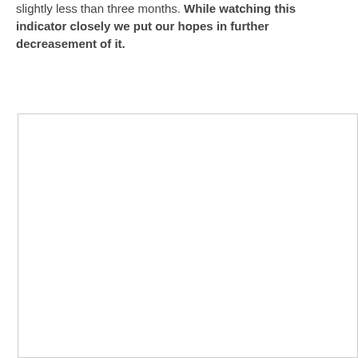slightly less than three months. While watching this indicator closely we put our hopes in further decreasement of it.
[Figure (other): A blank/empty chart area with a border, content not visible in this page crop.]